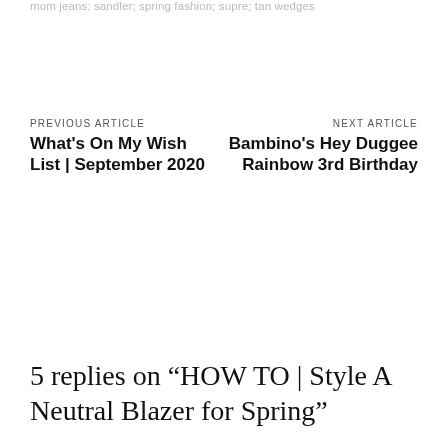mom jeans; sandler; spring fashion; supre; tan wedges
PREVIOUS ARTICLE
What's On My Wish List | September 2020
NEXT ARTICLE
Bambino's Hey Duggee Rainbow 3rd Birthday
5 replies on “HOW TO | Style A Neutral Blazer for Spring”